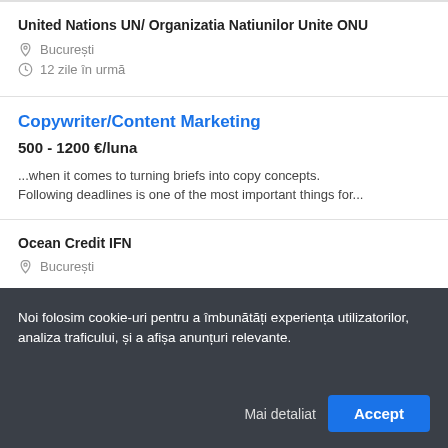United Nations UN/ Organizatia Natiunilor Unite ONU
București
12 zile în urmă
Copywriter/Content Marketing
500 - 1200 €/luna
...when it comes to turning briefs into copy concepts. Following deadlines is one of the most important things for...
Ocean Credit IFN
București
Noi folosim cookie-uri pentru a îmbunătăți experiența utilizatorilor, analiza traficului, și a afișa anunțuri relevante.
Mai detaliat
Accept